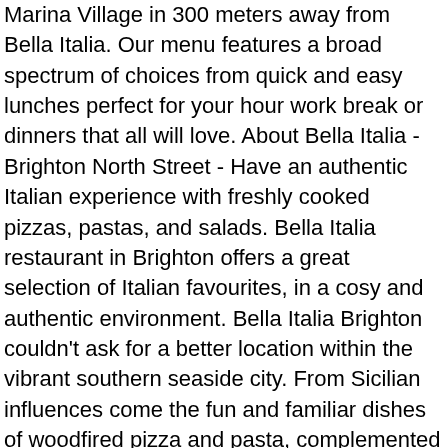Marina Village in 300 meters away from Bella Italia. Our menu features a broad spectrum of choices from quick and easy lunches perfect for your hour work break or dinners that all will love. About Bella Italia - Brighton North Street - Have an authentic Italian experience with freshly cooked pizzas, pastas, and salads. Bella Italia restaurant in Brighton offers a great selection of Italian favourites, in a cosy and authentic environment. Bella Italia Brighton couldn't ask for a better location within the vibrant southern seaside city. From Sicilian influences come the fun and familiar dishes of woodfired pizza and pasta, complemented by perfectly crafted tomato sauces and rich olive oils. 545 Hunter Street, Newcastle NSW 2300. info@bellaitaliaristorante.com.au. Brighton, Unit 6, 2 The Boardwalk, Brighton Marina Village, Brighton, BN25WA, There are also Parking facilities for your car, the nearest parking is Brighton Marina Village in 300 meters away from Bella Italia. Bella Italia - Brighton South East England; Bella Italia - Brighton, Brighton; Get Menu, Reviews, Contact, Location, Phone Number, Maps and more for Bella Italia - Brighton Restaurant. Zomato. Situated in the charm...